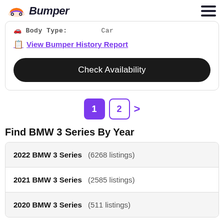Bumper
Body Type: Car
View Bumper History Report
Check Availability
1 2 >
Find BMW 3 Series By Year
2022 BMW 3 Series (6268 listings)
2021 BMW 3 Series (2585 listings)
2020 BMW 3 Series (511 listings)